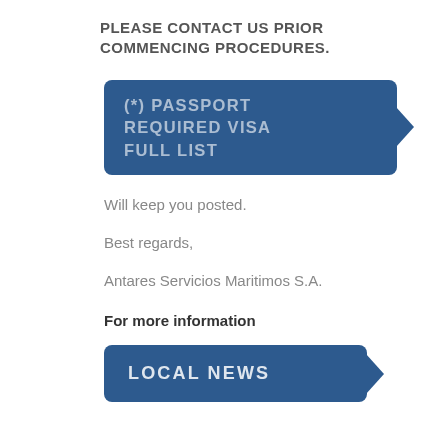PLEASE CONTACT US PRIOR COMMENCING PROCEDURES.
[Figure (other): Dark blue button with arrow pointing right, text: (*) PASSPORT REQUIRED VISA FULL LIST]
Will keep you posted.
Best regards,
Antares Servicios Maritimos S.A.
For more information
[Figure (other): Dark blue button with arrow pointing right, text: LOCAL NEWS]